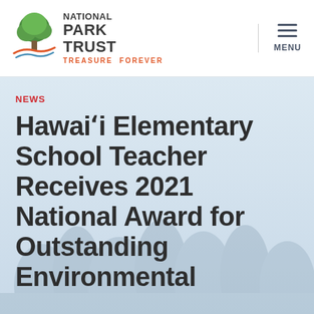NATIONAL PARK TRUST — TREASURE FOREVER | MENU
NEWS
Hawai'i Elementary School Teacher Receives 2021 National Award for Outstanding Environmental